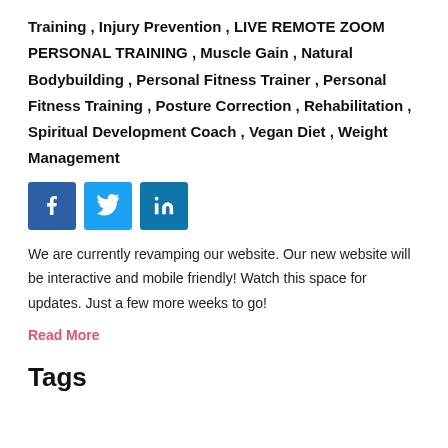Training , Injury Prevention , LIVE REMOTE ZOOM PERSONAL TRAINING , Muscle Gain , Natural Bodybuilding , Personal Fitness Trainer , Personal Fitness Training , Posture Correction , Rehabilitation , Spiritual Development Coach , Vegan Diet , Weight Management
[Figure (infographic): Social media icons: Facebook (blue), Twitter (light blue), LinkedIn (blue)]
We are currently revamping our website. Our new website will be interactive and mobile friendly! Watch this space for updates. Just a few more weeks to go!
Read More
Tags